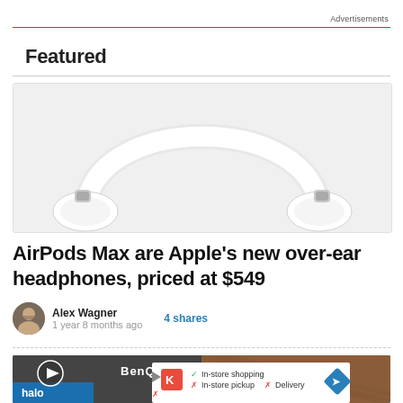Advertisements
Featured
[Figure (photo): Apple AirPods Max white over-ear headphones on light gray background, viewed from front/top showing headband arc]
AirPods Max are Apple's new over-ear headphones, priced at $549
Alex Wagner · 1 year 8 months ago · 4 shares
[Figure (screenshot): Second article thumbnail showing BenQ monitor, halo brand overlay, and a Google Maps-style info overlay with In-store shopping checkmark, In-store pickup X, Delivery X]